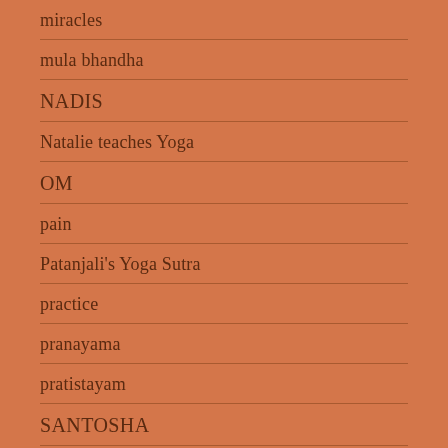miracles
mula bhandha
NADIS
Natalie teaches Yoga
OM
pain
Patanjali's Yoga Sutra
practice
pranayama
pratistayam
SANTOSHA
self